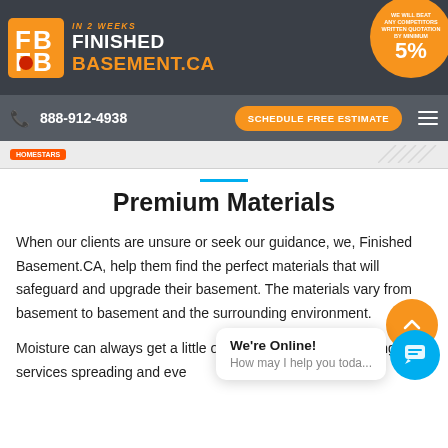Finished Basement.CA — IN 2 WEEKS — 888-912-4938 — SCHEDULE FREE ESTIMATE
Premium Materials
When our clients are unsure or seek our guidance, we, Finished Basement.CA, help them find the perfect materials that will safeguard and upgrade their basement. The materials vary from basement to basement and the surrounding environment.
Moisture can always get a little over the top, but our rectifying services spreading and eve...